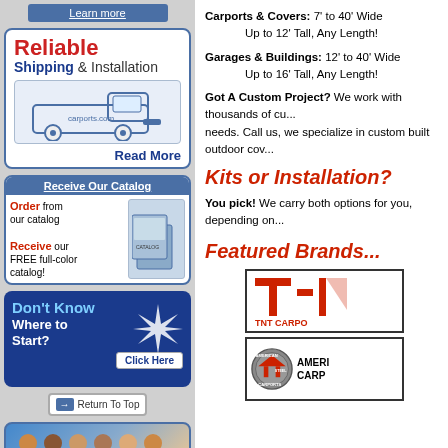[Figure (screenshot): Learn more button - blue rounded rectangle]
[Figure (illustration): Reliable Shipping & Installation box with van image and Read More link]
[Figure (screenshot): Receive Our Catalog box with Order/Receive text and catalog images]
[Figure (screenshot): Don't Know Where to Start? Click Here box]
Return To Top
[Figure (photo): Group of people photo at bottom of sidebar]
Carports & Covers: 7' to 40' Wide
Up to 12' Tall, Any Length!
Garages & Buildings: 12' to 40' Wide
Up to 16' Tall, Any Length!
Got A Custom Project? We work with thousands of cu... needs. Call us, we specialize in custom built outdoor cov...
Kits or Installation?
You pick! We carry both options for you, depending on...
Featured Brands...
[Figure (logo): TNT Carports logo - red T-N text with TNT CARPO text below]
[Figure (logo): American Steel Carports logo - circular badge with AMERICAN STEEL CARPORTS text]